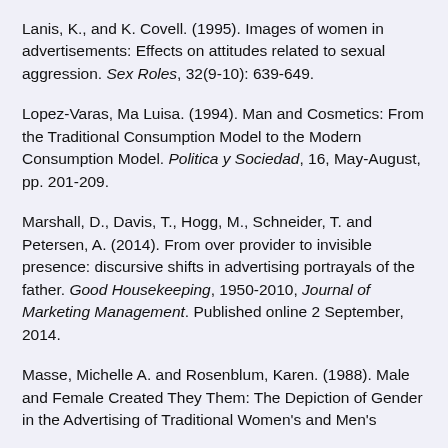Lanis, K., and K. Covell. (1995). Images of women in advertisements: Effects on attitudes related to sexual aggression. Sex Roles, 32(9-10): 639-649.
Lopez-Varas, Ma Luisa. (1994). Man and Cosmetics: From the Traditional Consumption Model to the Modern Consumption Model. Politica y Sociedad, 16, May-August, pp. 201-209.
Marshall, D., Davis, T., Hogg, M., Schneider, T. and Petersen, A. (2014). From over provider to invisible presence: discursive shifts in advertising portrayals of the father. Good Housekeeping, 1950-2010, Journal of Marketing Management. Published online 2 September, 2014.
Masse, Michelle A. and Rosenblum, Karen. (1988). Male and Female Created They Them: The Depiction of Gender in the Advertising of Traditional Women's and Men's Magazines...